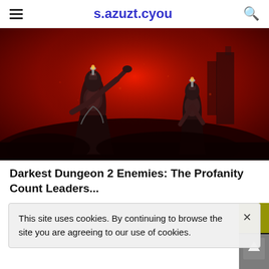s.azuzt.cyou
[Figure (illustration): Dark fantasy game artwork showing two armored skeletal/undead figures standing against a deep red background. The left figure is taller and raises one arm, the right figure is shorter. Both have metallic, ornate armor. A dark crowd or battlefield is visible at the bottom.]
Darkest Dungeon 2 Enemies: The Profanity Count Leaders...
This site uses cookies. By continuing to browse the site you are agreeing to our use of cookies.